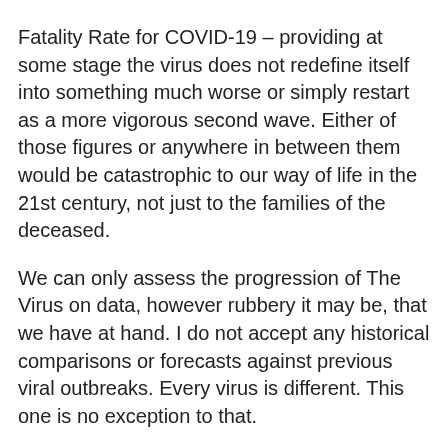Fatality Rate for COVID-19 – providing at some stage the virus does not redefine itself into something much worse or simply restart as a more vigorous second wave.  Either of those figures or anywhere in between them would be catastrophic to our way of life in the 21st century, not just to the families of the deceased.
We can only assess the progression of The Virus on data, however rubbery it may be, that we have at hand.  I do not accept any historical comparisons or forecasts against previous viral outbreaks. Every virus is different.  This one is no exception to that.
We are fortunate that today we still have the means of communication to rapidly assess its ongoing effect on a global basis.  Depending on the severity of its impact on our way of life through whatever fallout ensues from it, that may not always be the